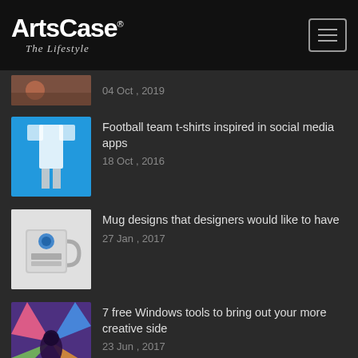ArtsCase The Lifestyle
04 Oct , 2019
Football team t-shirts inspired in social media apps
18 Oct , 2016
Mug designs that designers would like to have
27 Jan , 2017
7 free Windows tools to bring out your more creative side
23 Jun , 2017
ARCHIVES
May 2020
April 2020